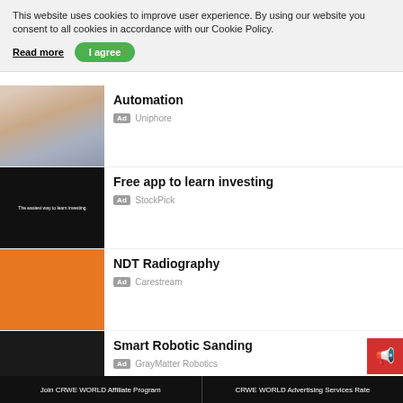This website uses cookies to improve user experience. By using our website you consent to all cookies in accordance with our Cookie Policy.
Read more
I agree
Automation
Ad  Uniphore
Free app to learn investing
Ad  StockPick
NDT Radiography
Ad  Carestream
Smart Robotic Sanding
Ad  GrayMatter Robotics
Join CRWE WORLD Affiliate Program | CRWE WORLD Advertising Services Rate